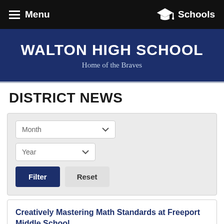Menu   Schools
WALTON HIGH SCHOOL
Home of the Braves
DISTRICT NEWS
Month [dropdown]  Year [dropdown]  Filter  Reset
Creatively Mastering Math Standards at Freeport Middle School